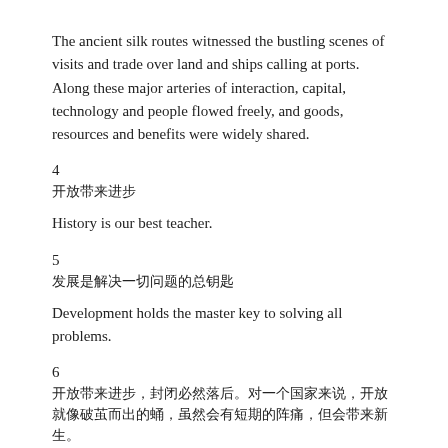The ancient silk routes witnessed the bustling scenes of visits and trade over land and ships calling at ports. Along these major arteries of interaction, capital, technology and people flowed freely, and goods, resources and benefits were widely shared.
4
开放带来进步
History is our best teacher.
5
发展是解决一切问题的总钥匙
Development holds the master key to solving all problems.
6
开放带来进步，封闭必然落后。对一个国家来说，开放就像破茧而出的蛹，虽然会有短期的阵痛，但会带来新生。
Opening up brings progress while isolation results in backwardness. For a country, opening up is like the struggle of a chrysalis breaking free from its cacoon. There will be short-term pains, but such pains will create a new life.